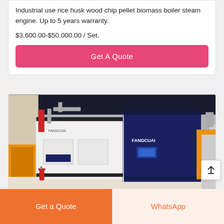Industrial use rice husk wood chip pellet biomass boiler steam engine. Up to 5 years warranty. $3,600.00-$50,000.00 / Set.
Get A Quote
[Figure (photo): Industrial biomass boiler units (FANGCUAI brand) installed in a facility, showing large white and navy blue boiler units with pipes and yellow structural elements]
Get a Quote
WhatsApp